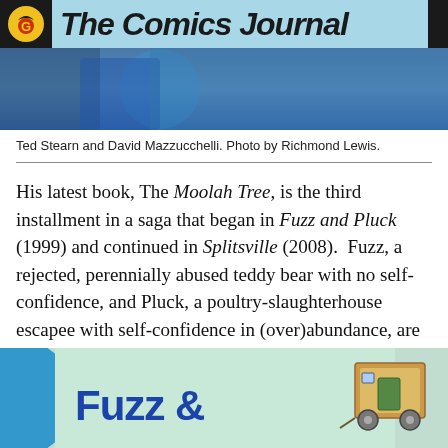The Comics Journal
[Figure (photo): Photo of Ted Stearn and David Mazzucchelli, two people outdoors, one wearing a blue hoodie. Photo by Richmond Lewis.]
Ted Stearn and David Mazzucchelli. Photo by Richmond Lewis.
His latest book, The Moolah Tree, is the third installment in a saga that began in Fuzz and Pluck (1999) and continued in Splitsville (2008). Fuzz, a rejected, perennially abused teddy bear with no self-confidence, and Pluck, a poultry-slaughterhouse escapee with self-confidence in (over)abundance, are unlikely companions trying to survive in a world of users, losers, and desperate seekers (not unlike our own).
[Figure (illustration): Fuzz & (Pluck) comic book cover or panel illustration showing a blue blob shape on the left and a small cart/wagon structure on the right, with the text 'Fuzz &' in bold blue lettering on a light green/teal background.]